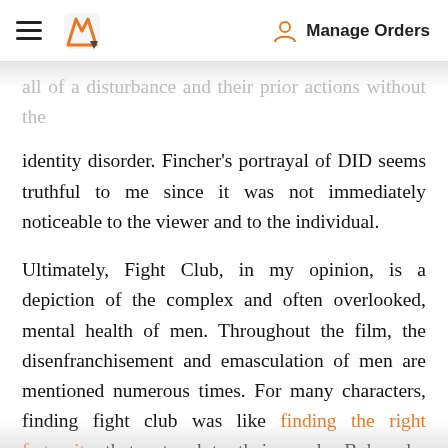Manage Orders
identity disorder. Fincher's portrayal of DID seems truthful to me since it was not immediately noticeable to the viewer and to the individual.
Ultimately, Fight Club, in my opinion, is a depiction of the complex and often overlooked, mental health of men. Throughout the film, the disenfranchisement and emasculation of men are mentioned numerous times. For many characters, finding fight club was like finding the right fraternity that catered to their needs. Bob, who suffered from testicular cancer, regained his masculinity by joining the fight club. The unnamed narrator got himself into such complicated